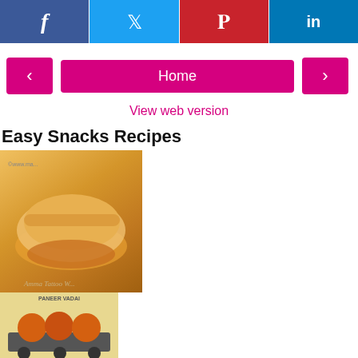[Figure (infographic): Social media sharing bar with Facebook (blue), Twitter (light blue), Pinterest (red), LinkedIn (dark blue) icons]
[Figure (infographic): Navigation row with pink left arrow button, pink Home button, pink right arrow button]
View web version
Easy Snacks Recipes
[Figure (photo): Collage of Indian snack recipes: roti/wrap, paneer vadai, spicy dish, chutney, mango lassi, aloo tikki/vada, mirchi bajji, and more snacks]